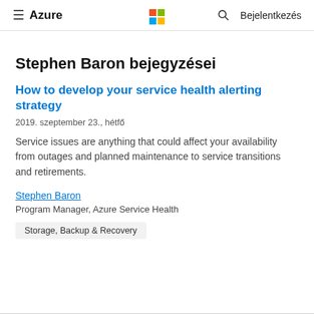≡ Azure   [Microsoft Logo]   🔍   Bejelentkezés
Stephen Baron bejegyzései
How to develop your service health alerting strategy
2019. szeptember 23., hétfő
Service issues are anything that could affect your availability from outages and planned maintenance to service transitions and retirements.
Stephen Baron
Program Manager, Azure Service Health
Storage, Backup & Recovery